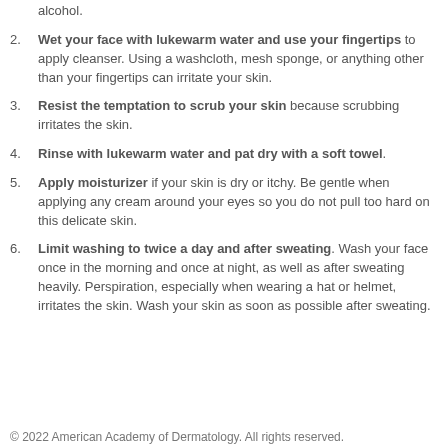alcohol.
Wet your face with lukewarm water and use your fingertips to apply cleanser. Using a washcloth, mesh sponge, or anything other than your fingertips can irritate your skin.
Resist the temptation to scrub your skin because scrubbing irritates the skin.
Rinse with lukewarm water and pat dry with a soft towel.
Apply moisturizer if your skin is dry or itchy. Be gentle when applying any cream around your eyes so you do not pull too hard on this delicate skin.
Limit washing to twice a day and after sweating. Wash your face once in the morning and once at night, as well as after sweating heavily. Perspiration, especially when wearing a hat or helmet, irritates the skin. Wash your skin as soon as possible after sweating.
© 2022 American Academy of Dermatology. All rights reserved.